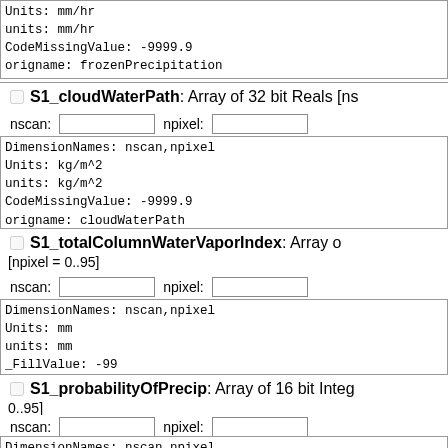Units: mm/hr
units: mm/hr
CodeMissingValue: -9999.9
origname: frozenPrecipitation
S1_cloudWaterPath: Array of 32 bit Reals [ns
nscan:  npixel:
DimensionNames: nscan,npixel
Units: kg/m^2
units: kg/m^2
CodeMissingValue: -9999.9
origname: cloudWaterPath
S1_totalColumnWaterVaporIndex: Array o [npixel = 0..95]
nscan:  npixel:
DimensionNames: nscan,npixel
Units: mm
units: mm
_FillValue: -99
CodeMissingValue: -99
S1_probabilityOfPrecip: Array of 16 bit Integ 0..95]
nscan:  npixel:
DimensionNames: nscan,npixel
Units: percent
units: percent